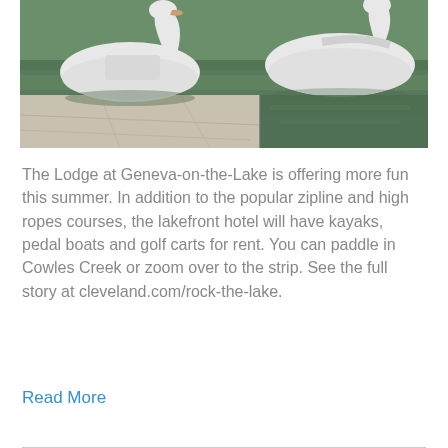[Figure (photo): Two white swan-shaped pedal boats docked at a concrete pier beside calm green water. The boats are white fiberglass in the shape of swans with seats visible. The dock has a stone/concrete surface.]
The Lodge at Geneva-on-the-Lake is offering more fun this summer. In addition to the popular zipline and high ropes courses, the lakefront hotel will have kayaks, pedal boats and golf carts for rent. You can paddle in Cowles Creek or zoom over to the strip. See the full story at cleveland.com/rock-the-lake.
Read More